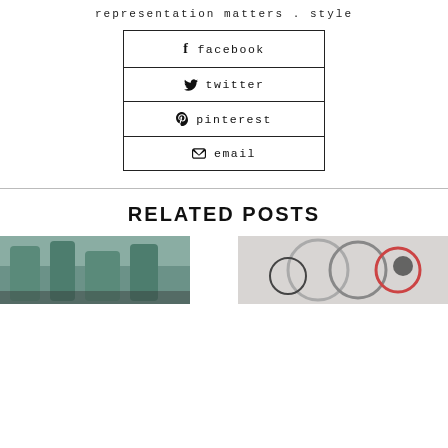representation matters . style
facebook
twitter
pinterest
email
RELATED POSTS
[Figure (photo): Partial photo of evergreen/winter foliage, left side]
[Figure (photo): Partial photo with circular shapes, right side]